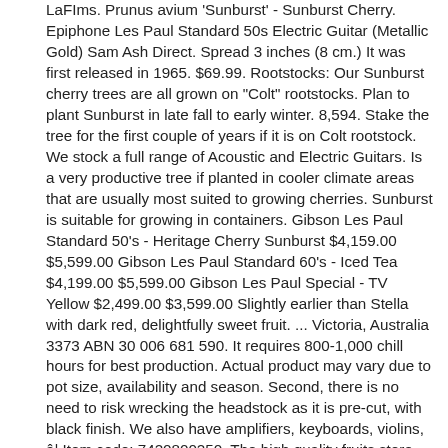LaFIms. Prunus avium 'Sunburst' - Sunburst Cherry. Epiphone Les Paul Standard 50s Electric Guitar (Metallic Gold) Sam Ash Direct. Spread 3 inches (8 cm.) It was first released in 1965. $69.99. Rootstocks: Our Sunburst cherry trees are all grown on "Colt" rootstocks. Plan to plant Sunburst in late fall to early winter. 8,594. Stake the tree for the first couple of years if it is on Colt rootstock. We stock a full range of Acoustic and Electric Guitars. Is a very productive tree if planted in cooler climate areas that are usually most suited to growing cherries. Sunburst is suitable for growing in containers. Gibson Les Paul Standard 50's - Heritage Cherry Sunburst $4,159.00 $5,599.00 Gibson Les Paul Standard 60's - Iced Tea $4,199.00 $5,599.00 Gibson Les Paul Special - TV Yellow $2,499.00 $3,599.00 Slightly earlier than Stella with dark red, delightfully sweet fruit. ... Victoria, Australia 3373 ABN 30 006 681 590. It requires 800-1,000 chill hours for best production. Actual product may vary due to pot size, availability and season. Second, there is no need to risk wrecking the headstock as it is pre-cut, with black finish. We also have amplifiers, keyboards, violins, â¦ Item code: 7420800250. The high quality fruits store well for a short period after picking. Hicksville, NY, United States. Sunburst is a style of finishing for musical instruments such as electric and acoustic guitars and electric basses. Sunburst was developed at the Summerland Research Station in British Columbia, Canada. Find more gardening information on Gardening Know How: Keep up to date with all that's happening in and around the garden. Epiphone SHERATON-II PRO Vintage Sunburst - Brown $1,189.00 $1,699.00 Reserve with 10% Deposit Epiphone Les Paul Special VE Heritage Cherry Sunburst Vintage - Cherry Another cherry tree option for those looking for an early